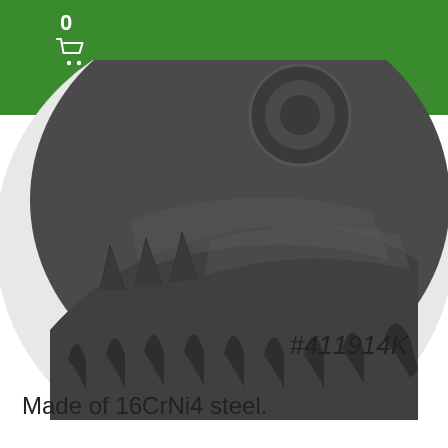0
[Figure (photo): Close-up photograph of a dark steel sprocket/gear wheel (part #411914K) made of 16CrNi4 steel, showing toothed edges against a white circular background]
#411914K
Made of 16CrNi4 steel.